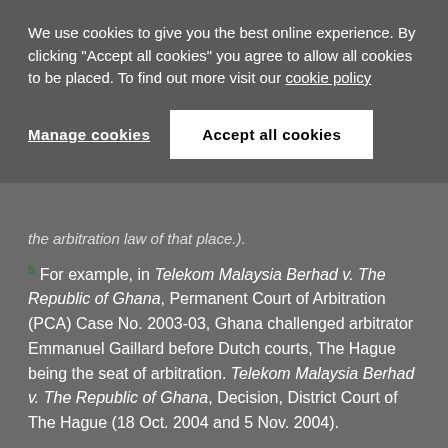We use cookies to give you the best online experience. By clicking "Accept all cookies" you agree to allow all cookies to be placed. To find out more visit our cookie policy
Manage cookies | Accept all cookies
the arbitration law of that place.).
5 For example, in Telekom Malaysia Berhad v. The Republic of Ghana, Permanent Court of Arbitration (PCA) Case No. 2003-03, Ghana challenged arbitrator Emmanuel Gaillard before Dutch courts, The Hague being the seat of arbitration. Telekom Malaysia Berhad v. The Republic of Ghana, Decision, District Court of The Hague (18 Oct. 2004 and 5 Nov. 2004).